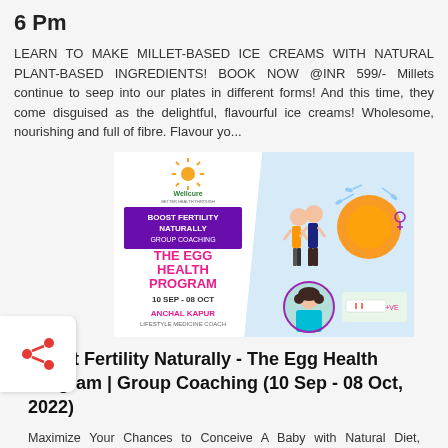6 Pm
LEARN TO MAKE MILLET-BASED ICE CREAMS WITH NATURAL PLANT-BASED INGREDIENTS! BOOK NOW @INR 599/- Millets continue to seep into our plates in different forms! And this time, they come disguised as the delightful, flavourful ice creams! Wholesome, nourishing and full of fibre. Flavour yo...
[Figure (illustration): Promotional poster for 'Boost Fertility Naturally - The Egg Health Program | Group Coaching (10 Sep - 08 Oct, 2022)' by Anchal Kapur, Lifestyle Medicine Coach. Features Wellcure logo, illustration of a couple, egg cell, sperm cells, and a pregnancy test image.]
Boost Fertility Naturally - The Egg Health Program | Group Coaching (10 Sep - 08 Oct, 2022)
Maximize Your Chances to Conceive A Baby with Natural Diet, Lifestyle & Therapies. Only 30 Seats! BOOK NOW Are you...